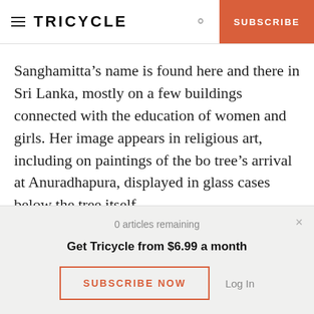TRICYCLE | SUBSCRIBE
Sanghamitta’s name is found here and there in Sri Lanka, mostly on a few buildings connected with the education of women and girls. Her image appears in religious art, including on paintings of the bo tree’s arrival at Anuradhapura, displayed in glass cases below the tree itself.
0 articles remaining
Get Tricycle from $6.99 a month
SUBSCRIBE NOW
Log In